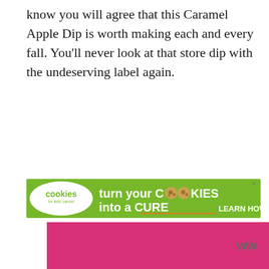know you will agree that this Caramel Apple Dip is worth making each and every fall.  You'll never look at that store dip with the undeserving label again.
[Figure (other): Advertisement banner for 'Cookies for Kids Cancer' — green background with white oval logo on left showing 'cookies for kids cancer' text in green, and on right large white bold text reading 'turn your COOKIES into a CURE LEARN HOW' with cookie images replacing the O's in COOKIES. Close button X in top right.]
[Figure (other): Bottom portion showing a bright pink/magenta rectangular bar on the left side, and a small WW (Weight Watchers) logo with degree symbol on the right side.]